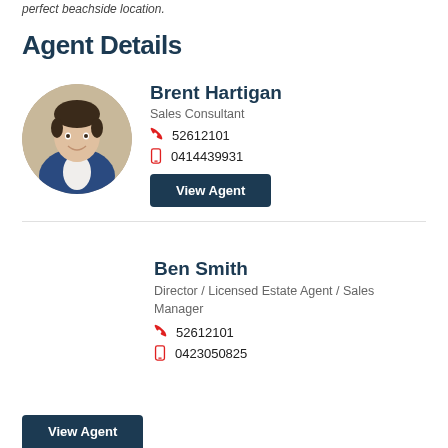perfect beachside location.
Agent Details
[Figure (photo): Circular headshot of Brent Hartigan, a man in a blue suit jacket, smiling.]
Brent Hartigan
Sales Consultant
52612101
0414439931
View Agent
Ben Smith
Director / Licensed Estate Agent / Sales Manager
52612101
0423050825
View Agent